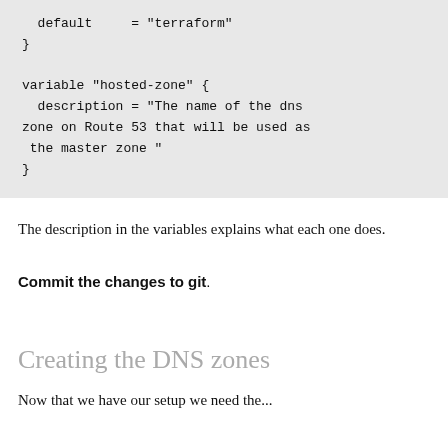[Figure (other): Code block showing Terraform variable definitions with default and hosted-zone variable]
The description in the variables explains what each one does.
Commit the changes to git.
Creating the DNS zones
Now that we have our setup we need the...